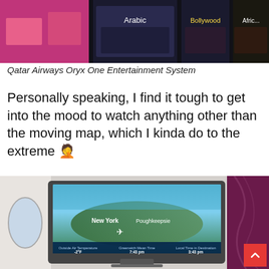[Figure (photo): Qatar Airways Oryx One entertainment system screen showing movie category thumbnails including Arabic, Bollywood, and African sections on a dark background]
Qatar Airways Oryx One Entertainment System
Personally speaking, I find it tough to get into the mood to watch anything other than the moving map, which I kinda do to the extreme 🤦
[Figure (photo): Qatar Airways business class seat with large entertainment monitor showing moving map with New York and Poughkeepsie visible, purple cabin wall visible on right, airplane window on left]